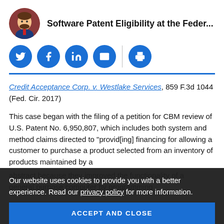Software Patent Eligibility at the Feder...
[Figure (infographic): Social sharing buttons: Twitter, Facebook, LinkedIn, Email, Print]
Credit Acceptance Corp. v. Westlake Services, 859 F.3d 1044 (Fed. Cir. 2017)
This case began with the filing of a petition for CBM review of U.S. Patent No. 6,950,807, which includes both system and method claims directed to "provid[ing] financing for allowing a customer to purchase a product selected from an inventory of products maintained by a dealer..." abstract because they improved the functionality of a general purpose computer by programming
Our website uses cookies to provide you with a better experience. Read our privacy policy for more information.
ACCEPT AND CLOSE